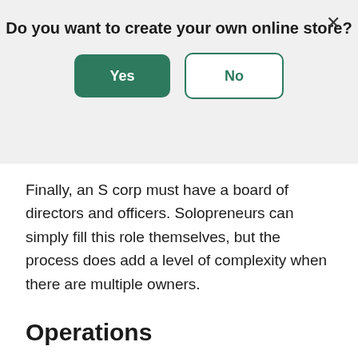[Figure (screenshot): Modal dialog overlay with question 'Do you want to create your own online store?' and two buttons: 'Yes' (green filled) and 'No' (green outlined), with a close X in the top-right corner.]
Finally, an S corp must have a board of directors and officers. Solopreneurs can simply fill this role themselves, but the process does add a level of complexity when there are multiple owners.
Operations
It's simple to start an LLC; you need articles of organization and an operating agreement to file with the state. But you'll need some additional